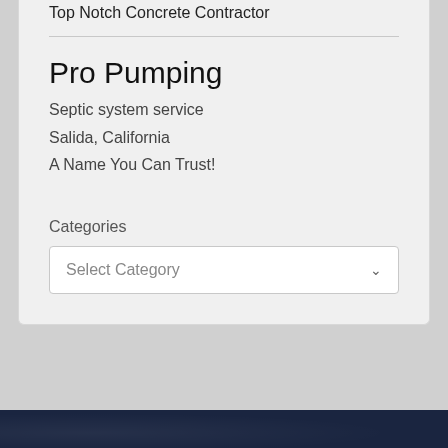Top Notch Concrete Contractor
Pro Pumping
Septic system service
Salida, California
A Name You Can Trust!
Categories
Select Category